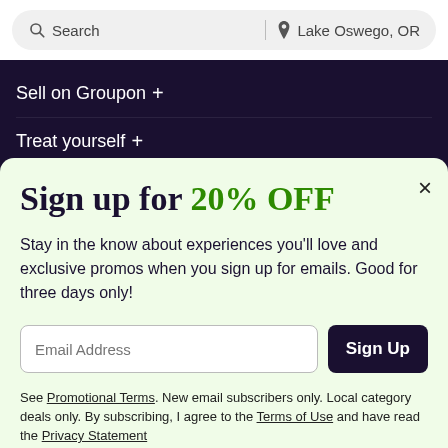Search | Lake Oswego, OR
Sell on Groupon +
Treat yourself +
Sign up for 20% OFF
Stay in the know about experiences you'll love and exclusive promos when you sign up for emails. Good for three days only!
Email Address
Sign Up
See Promotional Terms. New email subscribers only. Local category deals only. By subscribing, I agree to the Terms of Use and have read the Privacy Statement